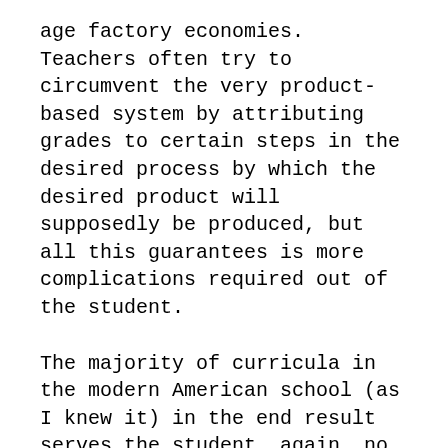age factory economies. Teachers often try to circumvent the very product-based system by attributing grades to certain steps in the desired process by which the desired product will supposedly be produced, but all this guarantees is more complications required out of the student.
The majority of curricula in the modern American school (as I knew it) in the end result serves the student, again, no further guaranteed purpose than to provide more instances of supposed accuracy of the student's mechanical computations.
The most immediate proposal for correction that comes to my mind is to break this obsession with accuracy. Accuracy has it's place, no doubt; grades as we use them now shouldn't be removed entirely, although I am partial to a more Peter Principle-esque implementations for the should for the state from